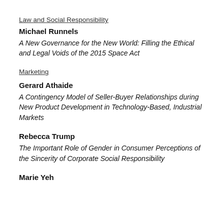Law and Social Responsibility
Michael Runnels
A New Governance for the New World: Filling the Ethical and Legal Voids of the 2015 Space Act
Marketing
Gerard Athaide
A Contingency Model of Seller-Buyer Relationships during New Product Development in Technology-Based, Industrial Markets
Rebecca Trump
The Important Role of Gender in Consumer Perceptions of the Sincerity of Corporate Social Responsibility
Marie Yeh